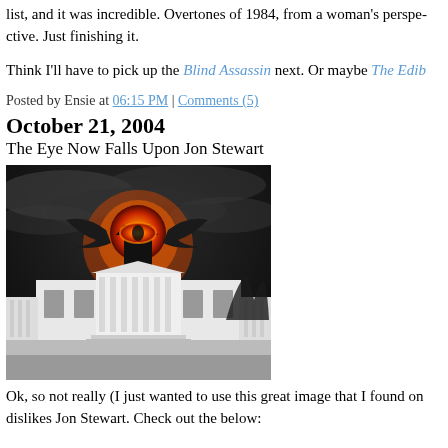list, and it was incredible. Overtones of 1984, from a woman's perspective. Just finishing it.
Think I'll have to pick up the Blind Assassin next. Or maybe The Edib
Posted by Ensie at 06:15 PM | Comments (5)
October 21, 2004
The Eye Now Falls Upon Jon Stewart
[Figure (photo): Composite photo of the White House with the Eye of Sauron (from Lord of the Rings) superimposed above it against a dark stormy sky with fire.]
Ok, so not really (I just wanted to use this great image that I found on dislikes Jon Stewart. Check out the below: